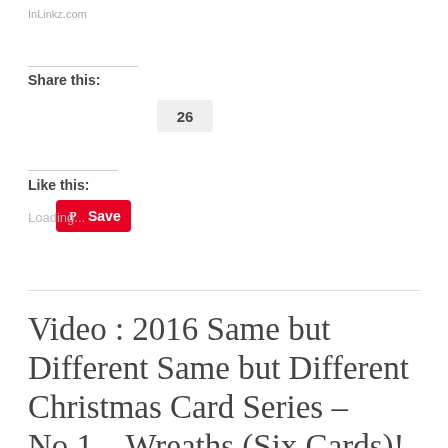InLinkz.com
Share this:
Save 26
Like this:
Loading...
Video : 2016 Same but Different Same but Different Christmas Card Series – No.1 – Wreaths (Six Cards)!